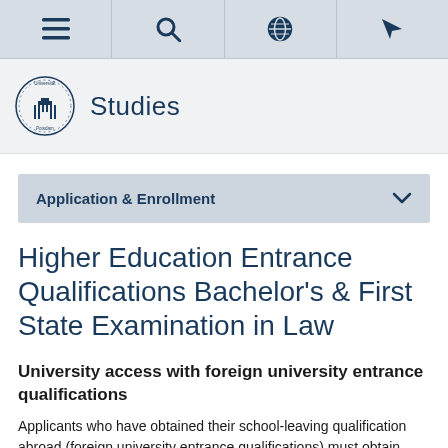Navigation bar with menu, search, globe, and location icons
[Figure (logo): Universität Potsdam circular seal/logo with building illustration]
Studies
Application & Enrollment
Higher Education Entrance Qualifications Bachelor's & First State Examination in Law
University access with foreign university entrance qualifications
Applicants who have obtained their school-leaving qualification abroad (foreign university entrance qualifications) must obtain